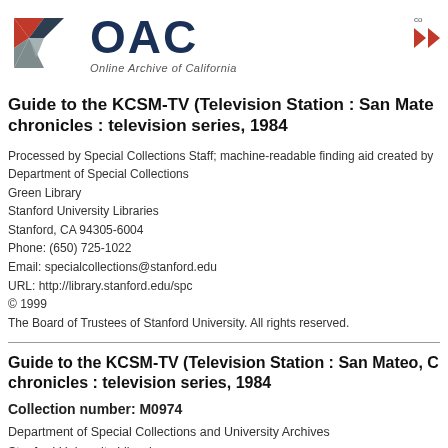[Figure (logo): OAC Online Archive of California logo with geometric diamond shape in red/teal and large dark blue OAC text]
Guide to the KCSM-TV (Television Station : San Mateo, C chronicles : television series, 1984
Processed by Special Collections Staff; machine-readable finding aid created by
Department of Special Collections
Green Library
Stanford University Libraries
Stanford, CA 94305-6004
Phone: (650) 725-1022
Email: specialcollections@stanford.edu
URL: http://library.stanford.edu/spc
© 1999
The Board of Trustees of Stanford University. All rights reserved.
Guide to the KCSM-TV (Television Station : San Mateo, C chronicles : television series, 1984
Collection number: M0974
Department of Special Collections and University Archives
Stanford University Libraries
Stanford, California